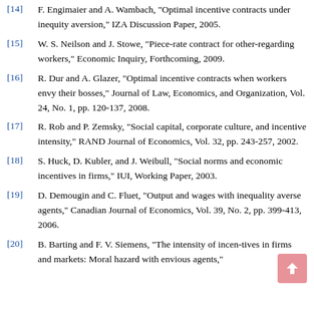[14] F. Engimaier and A. Wambach, "Optimal incentive contracts under inequity aversion," IZA Discussion Paper, 2005.
[15] W. S. Neilson and J. Stowe, "Piece-rate contract for other-regarding workers," Economic Inquiry, Forthcoming, 2009.
[16] R. Dur and A. Glazer, "Optimal incentive contracts when workers envy their bosses," Journal of Law, Economics, and Organization, Vol. 24, No. 1, pp. 120-137, 2008.
[17] R. Rob and P. Zemsky, "Social capital, corporate culture, and incentive intensity," RAND Journal of Economics, Vol. 32, pp. 243-257, 2002.
[18] S. Huck, D. Kubler, and J. Weibull, "Social norms and economic incentives in firms," IUI, Working Paper, 2003.
[19] D. Demougin and C. Fluet, "Output and wages with inequality averse agents," Canadian Journal of Economics, Vol. 39, No. 2, pp. 399-413, 2006.
[20] B. Barting and F. V. Siemens, "The intensity of incen-tives in firms and markets: Moral hazard with envious agents,"